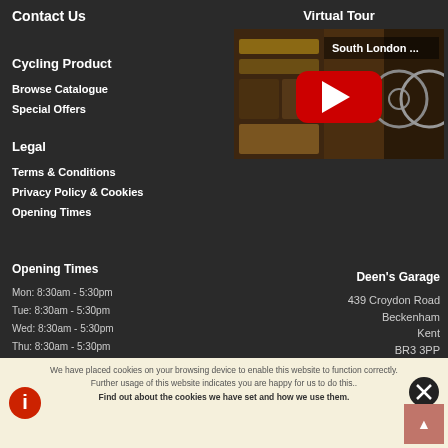Contact Us
Cycling Product
Browse Catalogue
Special Offers
Legal
Terms & Conditions
Privacy Policy & Cookies
Virtual Tour
[Figure (screenshot): YouTube video thumbnail showing South London bicycle shop interior with play button overlay, titled 'South London ...']
Opening Times
Mon: 8:30am - 5:30pm
Tue: 8:30am - 5:30pm
Wed: 8:30am - 5:30pm
Thu: 8:30am - 5:30pm
Fri: 8:30am - 5:30pm
Deen's Garage
439 Croydon Road
Beckenham
Kent
BR3 3PP
We have placed cookies on your browsing device to enable this website to function correctly.
Further usage of this website indicates you are happy for us to do this..
Find out about the cookies we have set and how we use them.